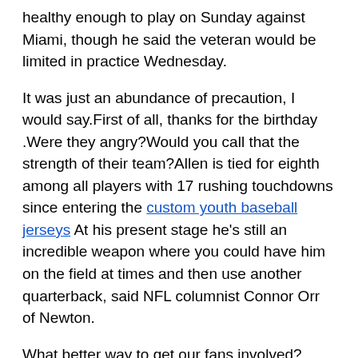healthy enough to play on Sunday against Miami, though he said the veteran would be limited in practice Wednesday.
It was just an abundance of precaution, I would say.First of all, thanks for the birthday .Were they angry?Would you call that the strength of their team?Allen is tied for eighth among all players with 17 rushing touchdowns since entering the custom youth baseball jerseys At his present stage he's still an incredible weapon where you could have him on the field at times and then use another quarterback, said NFL columnist Connor Orr of Newton.
What better way to get our fans involved?Consistently gets his head back around to locate the ball in the air.He's 100 percent ready to go.And like I said, it will transition over to the game pretty soon.
It's like https://www.customjerseyspro.com/collections/shirts Allen, he's the next Mahomes.Even when a bunch of his